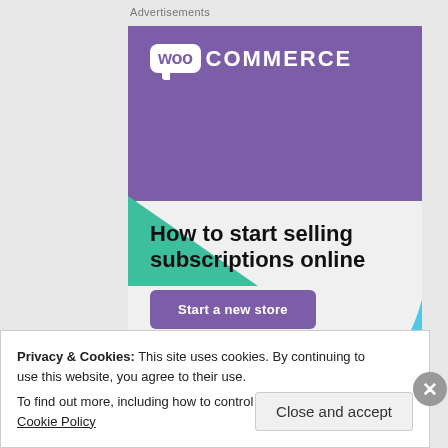Advertisements
[Figure (screenshot): WooCommerce advertisement banner with purple header containing the WooCommerce logo, green triangle shape, light blue curved shape, headline text 'How to start selling subscriptions online', and a purple 'Start a new store' button on a light gray background.]
REPORT THIS AD
Privacy & Cookies: This site uses cookies. By continuing to use this website, you agree to their use.
To find out more, including how to control cookies, see here: Cookie Policy
Close and accept